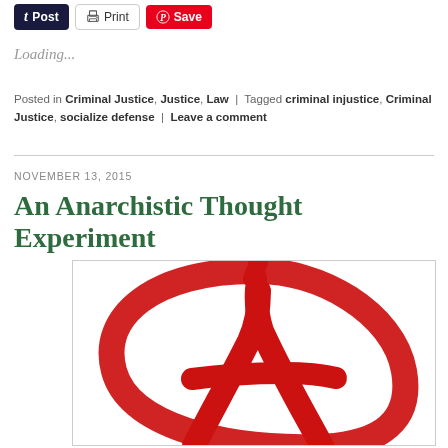[Figure (other): Social sharing buttons: t Post (dark navy), Print (grey outlined), Save (red Pinterest)]
Loading...
Posted in Criminal Justice, Justice, Law | Tagged criminal injustice, Criminal Justice, socialize defense | Leave a comment
NOVEMBER 13, 2015
An Anarchistic Thought Experiment
[Figure (illustration): Red anarchy symbol (circled A) painted in rough red brushstroke style on white background]